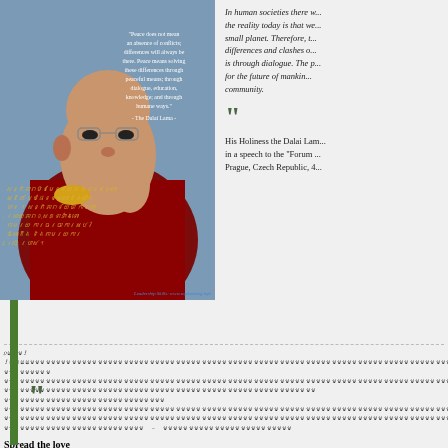[Figure (photo): Photo of the Dalai Lama in maroon robes with glasses, hand raised near face. Overlaid with Khmer script text in gold on the left, and an English peace quote in white text on the right side of the image. Attribution reads '- The Dalai Lama -'. Watermark: 'Leadership Skills: www.sophanstng.info']
In human societies there w... the reality today is that we... small planet. Therefore, ... differences and clashes o... is through dialogue. The p... for the future of mankin... community.
His Holiness the Dalai La... in a speech to the "Forum ... Prague, Czech Republic, 4...
Khmer script body text lines (3 lines)
Spread the love